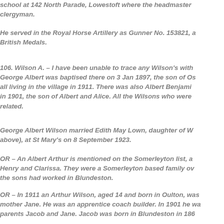school at 142 North Parade, Lowestoft where the headmaster was a clergyman.
He served in the Royal Horse Artillery as Gunner No. 153821, and received British Medals.
106. Wilson A. – I have been unable to trace any Wilson's with this initial. George Albert was baptised there on 3 Jan 1897, the son of Os... all living in the village in 1911. There was also Albert Benjamin... in 1901, the son of Albert and Alice. All the Wilsons who were... related.
George Albert Wilson married Edith May Lown, daughter of W... above), at St Mary's on 8 September 1923.
OR – An Albert Arthur is mentioned on the Somerleyton list, a... Henry and Clarissa. They were a Somerleyton based family o... the sons had worked in Blundeston.
OR – In 1911 an Arthur Wilson, aged 14 and born in Oulton, was... mother Jane. He was an apprentice coach builder. In 1901 he w... parents Jacob and Jane. Jacob was born in Blundeston in 186...